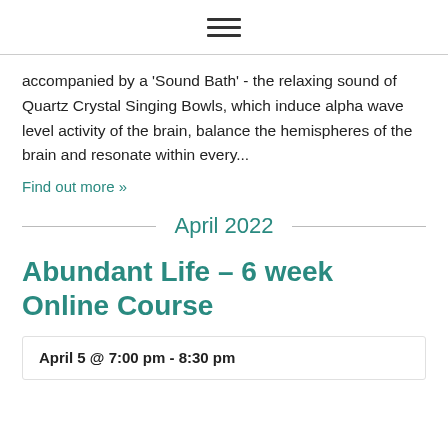≡
accompanied by a 'Sound Bath' - the relaxing sound of Quartz Crystal Singing Bowls, which induce alpha wave level activity of the brain, balance the hemispheres of the brain and resonate within every...
Find out more »
April 2022
Abundant Life – 6 week Online Course
April 5 @ 7:00 pm - 8:30 pm